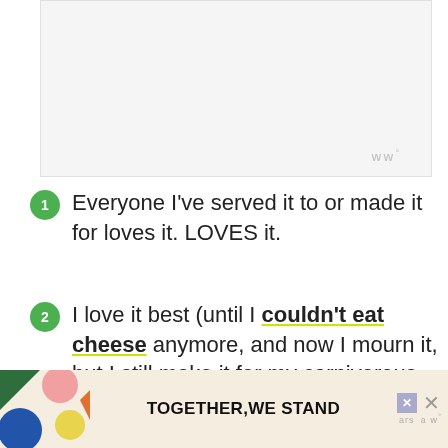[Figure (other): Placeholder image area, light gray background]
Everyone I've served it to or made it for loves it. LOVES it.
I love it best (until I couldn't eat cheese anymore, and now I mourn it, but I still make it for my carnivorous loved ones so that I can live vicariously).
[Figure (other): Advertisement banner reading TOGETHER,WE STAND with colorful artwork on left side]